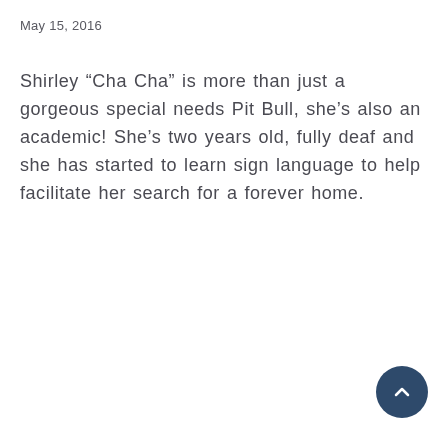May 15, 2016
Shirley “Cha Cha” is more than just a gorgeous special needs Pit Bull, she’s also an academic! She’s two years old, fully deaf and she has started to learn sign language to help facilitate her search for a forever home.
[Figure (other): Dark blue circular scroll-to-top button with upward chevron arrow]